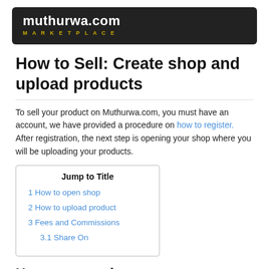[Figure (logo): muthurwa.com MARKETPLACE logo on dark background]
How to Sell: Create shop and upload products
To sell your product on Muthurwa.com, you must have an account, we have provided a procedure on how to register. After registration, the next step is opening your shop where you will be uploading your products.
| Jump to Title |
| --- |
| 1 How to open shop |
| 2 How to upload product |
| 3 Fees and Commissions |
| 3.1 Share On |
How to open shop